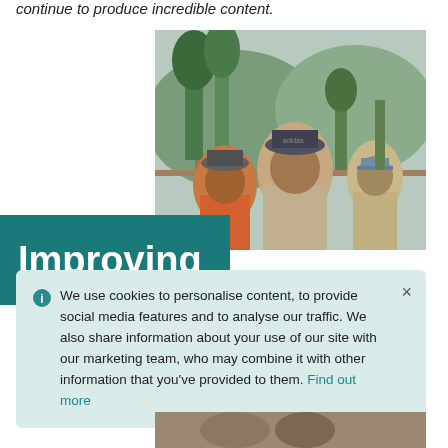continue to produce incredible content.
[Figure (photo): Three men wearing hats outdoors with trees and mountains in the background]
Improving
We use cookies to personalise content, to provide social media features and to analyse our traffic. We also share information about your use of our site with our marketing team, who may combine it with other information that you've provided to them. Find out more
[Figure (photo): Partial photo visible at the bottom of the page]